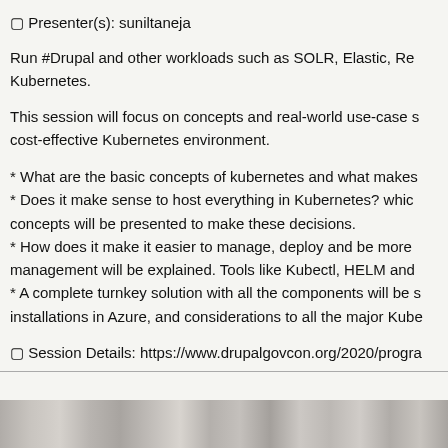🔲 Presenter(s): suniltaneja
Run #Drupal and other workloads such as SOLR, Elastic, Re... Kubernetes.
This session will focus on concepts and real-world use-case s... cost-effective Kubernetes environment.
* What are the basic concepts of kubernetes and what makes...
* Does it make sense to host everything in Kubernetes? which... concepts will be presented to make these decisions.
* How does it make it easier to manage, deploy and be more... management will be explained. Tools like Kubectl, HELM and...
* A complete turnkey solution with all the components will be s... installations in Azure, and considerations to all the major Kube...
🔲 Session Details: https://www.drupalgovcon.org/2020/progra...
[Figure (photo): Grayscale photo strip at the bottom of the page]